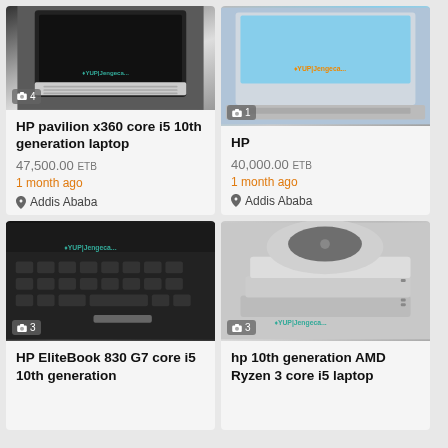[Figure (photo): HP pavilion x360 laptop open showing keyboard, 4 photos]
HP pavilion x360 core i5 10th generation laptop
47,500.00 ETB
1 month ago
Addis Ababa
[Figure (photo): HP laptop open on desk, 1 photo]
HP
40,000.00 ETB
1 month ago
Addis Ababa
[Figure (photo): HP EliteBook 830 G7 close-up keyboard, 3 photos]
HP EliteBook 830 G7 core i5 10th generation
[Figure (photo): hp 10th generation AMD Ryzen 3 core i5 laptop stack, 3 photos]
hp 10th generation AMD Ryzen 3 core i5 laptop